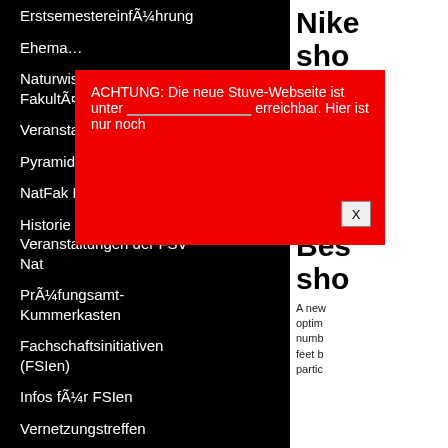ErstsemestereinführungAnother
Ehema…
Naturwisse… Fakultät
Veranstaltungen
Pyramiden Konferenz
NatFak Party
Historie Über Veranstaltungen der FSV Nat
Prüfungsamt-Kummerkasten
Fachschaftsinitiativen (FSIen)
Infos für FSIen
Vernetzungstreffen
Haushaltsmittel
Sitzungen und Protokalle
[Figure (screenshot): Red alert box with text: ACHTUNG: Die neue Stuve-Webseite ist unter [link] erreichbar. Hier ist nur noch Archiv. with a close button X]
Nike sho
Painte sports some activit reliab the w exem absol or sim
Bes sho
A new optim numb feet b partic